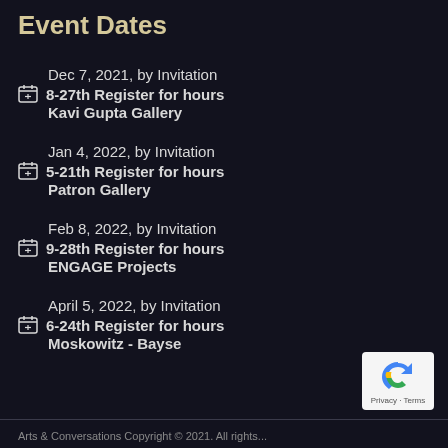Event Dates
Dec 7, 2021, by Invitation
8-27th Register for hours
Kavi Gupta Gallery
Jan 4, 2022, by Invitation
5-21th Register for hours
Patron Gallery
Feb 8, 2022, by Invitation
9-28th Register for hours
ENGAGE Projects
April 5, 2022, by Invitation
6-24th Register for hours
Moskowitz - Bayse
Arts & Conversations Copyright © 2021. All rights...